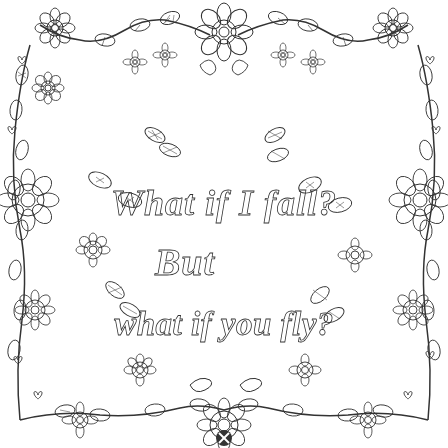[Figure (illustration): A coloring page illustration featuring a wreath or border of flowers, vines, and leaves surrounding two lines of inspirational text in decorative script. Small hearts are scattered throughout. The text reads: 'What if I fall? But what if you fly?' rendered in an ornate hand-lettered style. All artwork is in black outline on white background, suitable for coloring.]